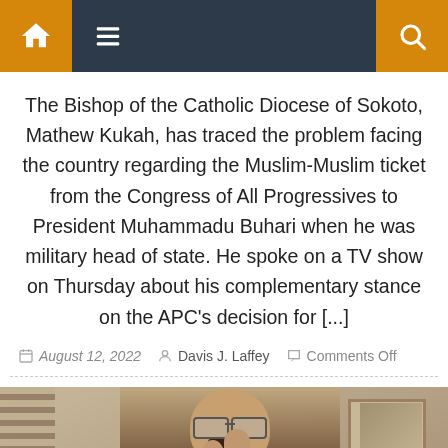Navigation bar with home icon, hamburger menu, and search icon
The Bishop of the Catholic Diocese of Sokoto, Mathew Kukah, has traced the problem facing the country regarding the Muslim-Muslim ticket from the Congress of All Progressives to President Muhammadu Buhari when he was military head of state. He spoke on a TV show on Thursday about his complementary stance on the APC's decision for [...]
August 12, 2022  Davis J. Laffey  Comments Off
[Figure (photo): A bald man wearing glasses, a neck brace, and a shirt that reads 'Shemale', with his hand raised, standing indoors near a window with blinds and a plant.]